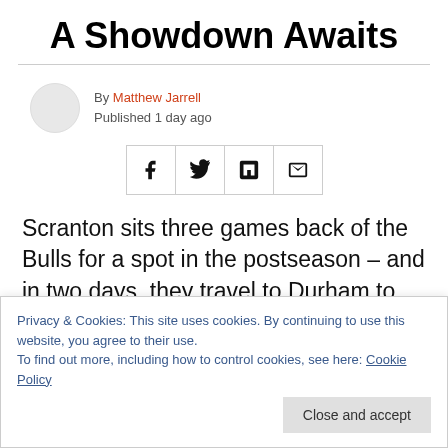A Showdown Awaits
By Matthew Jarrell
Published 1 day ago
[Figure (other): Social share buttons: Facebook, Twitter, Flipboard, Email]
Scranton sits three games back of the Bulls for a spot in the postseason – and in two days, they travel to Durham to begin a pivotal six-game set. Tampa's playoff hopes took a hit, while Hudson Valley and Brooklyn remain in a
Privacy & Cookies: This site uses cookies. By continuing to use this website, you agree to their use.
To find out more, including how to control cookies, see here: Cookie Policy